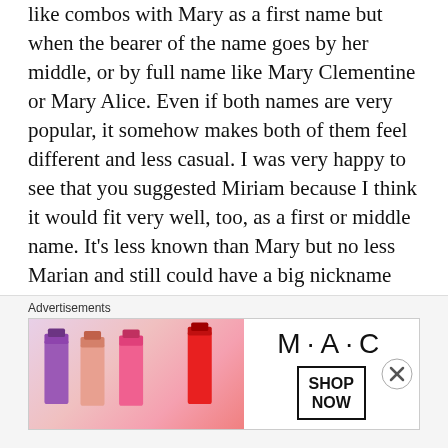like combos with Mary as a first name but when the bearer of the name goes by her middle, or by full name like Mary Clementine or Mary Alice. Even if both names are very popular, it somehow makes both of them feel different and less casual. I was very happy to see that you suggested Miriam because I think it would fit very well, too, as a first or middle name. It's less known than Mary but no less Marian and still could have a big nickname potential.
I am not an English native and do not live in an English-speaking country so my experience is very limited but I also
Advertisements
[Figure (photo): MAC cosmetics advertisement showing colorful lipsticks on the left side and MAC logo with SHOP NOW button on the right side]